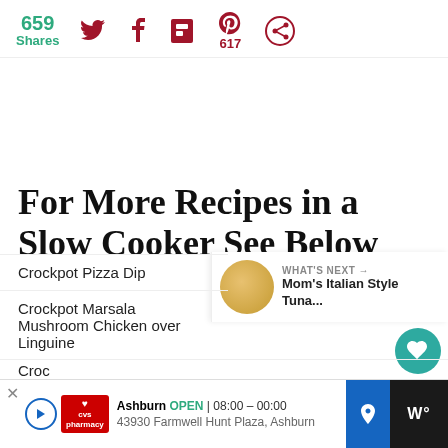659 Shares
[Figure (screenshot): Social sharing icons row: Twitter bird icon, Facebook f icon, Flipboard icon, Pinterest icon with count 617, and a circular share icon — all in dark red/crimson color]
For More Recipes in a Slow Cooker See Below
[Figure (infographic): Sidebar with teal heart button and grey share button, count 27 below heart]
[Figure (infographic): What's Next panel with circular food thumbnail and text: WHAT'S NEXT → Mom's Italian Style Tuna...]
Crockpot Pizza Dip
Crockpot Marsala Mushroom Chicken over Linguine
Croc...
Croc...
[Figure (screenshot): Bottom advertisement bar: CVS Pharmacy logo, Ashburn OPEN 08:00 – 00:00, 43930 Farmwell Hunt Plaza, Ashburn, navigation arrow icon, and dark panel with stylized W° symbol with X close button]